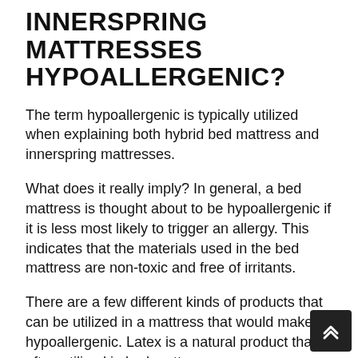INNERSPRING MATTRESSES HYPOALLERGENIC?
The term hypoallergenic is typically utilized when explaining both hybrid bed mattress and innerspring mattresses.
What does it really imply? In general, a bed mattress is thought about to be hypoallergenic if it is less most likely to trigger an allergy. This indicates that the materials used in the bed mattress are non-toxic and free of irritants.
There are a few different kinds of products that can be utilized in a mattress that would make it hypoallergenic. Latex is a natural product that is often utilized in bed mattress.
It is non-toxic and does not consist of any chemical...